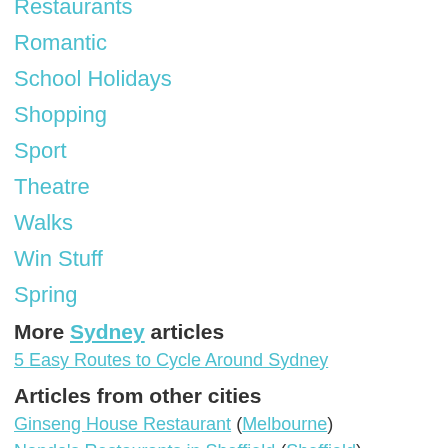Restaurants
Romantic
School Holidays
Shopping
Sport
Theatre
Walks
Win Stuff
Spring
More Sydney articles
5 Easy Routes to Cycle Around Sydney
Articles from other cities
Ginseng House Restaurant (Melbourne)
Nando's Restaurants in Sheffield (Sheffield)